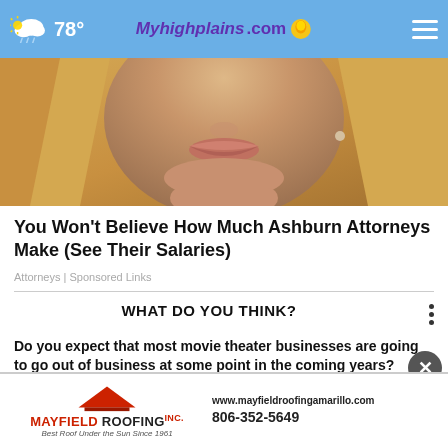78° Myhighplains.com
[Figure (photo): Close-up photo of a blonde woman's lower face showing lips and chin]
You Won't Believe How Much Ashburn Attorneys Make (See Their Salaries)
Attorneys | Sponsored Links
WHAT DO YOU THINK?
Do you expect that most movie theater businesses are going to go out of business at some point in the coming years?
Yes
Maybe, I'm not sure
[Figure (logo): Mayfield Roofing Inc. advertisement banner. Logo shows red roof graphic. Text: MAYFIELD ROOFING INC. Best Roof Under the Sun Since 1961. www.mayfieldroofingamarillo.com 806-352-5649]